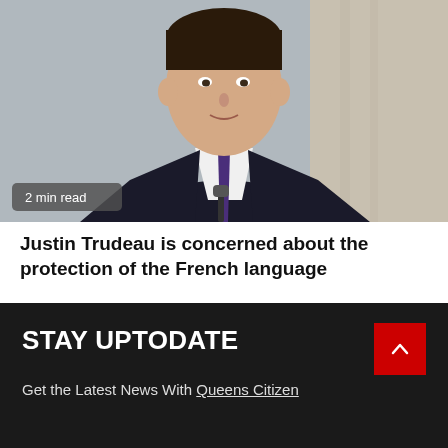[Figure (photo): Photo of Justin Trudeau in a dark suit and purple tie, speaking at a podium, with a grey curtain background. Badge reading '2 min read' overlaid at lower left.]
Justin Trudeau is concerned about the protection of the French language
15 hours ago   Clara Maeva
STAY UPTODATE
Get the Latest News With Queens Citizen